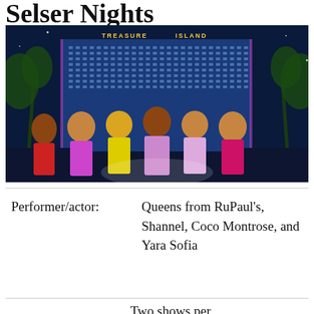Selser Nights
[Figure (photo): Group photo of six drag queens in glamorous costumes and makeup posing in front of the Treasure Island hotel/casino in Las Vegas at night, with neon lights illuminating the building facade.]
| Performer/actor: | Queens from RuPaul's, Shannel, Coco Montrose, and Yara Sofia |
|  | Two shows per |